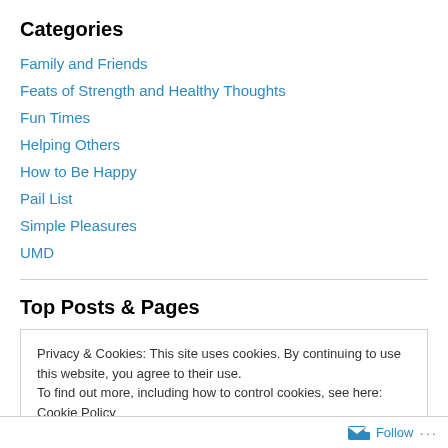Categories
Family and Friends
Feats of Strength and Healthy Thoughts
Fun Times
Helping Others
How to Be Happy
Pail List
Simple Pleasures
UMD
Top Posts & Pages
Privacy & Cookies: This site uses cookies. By continuing to use this website, you agree to their use. To find out more, including how to control cookies, see here: Cookie Policy
Follow